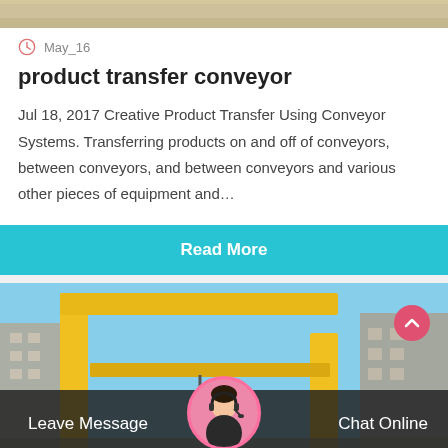[Figure (photo): Partial top image of a map or terrain, cropped at top of card]
May_16
product transfer conveyor
Jul 18, 2017 Creative Product Transfer Using Conveyor Systems. Transferring products on and off of conveyors, between conveyors, and between conveyors and various other pieces of equipment and…
Read More
[Figure (photo): Photo of a large yellow gantry crane outdoors with buildings in background and blue sky]
Leave Message
Chat Online